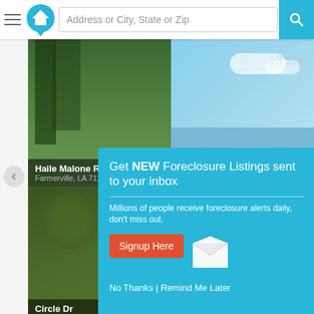Address or City, State or Zip — search bar navigation
[Figure (screenshot): Real estate listing page background showing property photos for Haile Malone Rd and Circle Dr, Farmerville LA 71241, with price $106,204]
Get NEW Foreclosure Listings sent to your inbox
Millions of people receive foreclosure alerts daily, don't miss out.
Signup Here
No Thanks | Remind Me Later